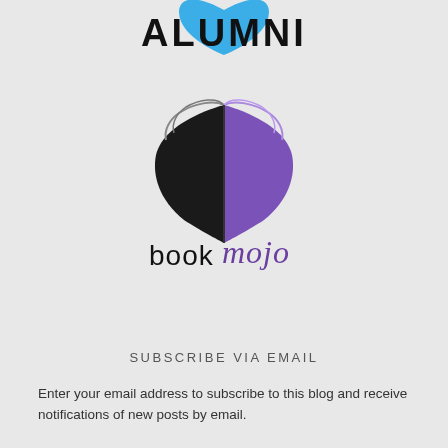[Figure (logo): Blue shield/heart shape at top with ALUMNI text below it, partial view cut at top]
ALUMNI
[Figure (logo): BookMojo logo: open book icon with black left page and purple right page forming a shield/heart shape, with text 'bookmojo' below in black and purple italic script]
SUBSCRIBE VIA EMAIL
Enter your email address to subscribe to this blog and receive notifications of new posts by email.